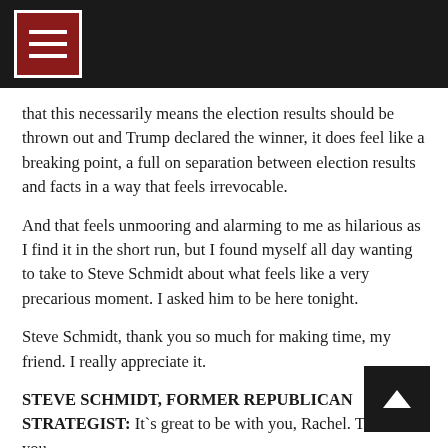[Navigation menu icon]
that this necessarily means the election results should be thrown out and Trump declared the winner, it does feel like a breaking point, a full on separation between election results and facts in a way that feels irrevocable.
And that feels unmooring and alarming to me as hilarious as I find it in the short run, but I found myself all day wanting to take to Steve Schmidt about what feels like a very precarious moment. I asked him to be here tonight.
Steve Schmidt, thank you so much for making time, my friend. I really appreciate it.
STEVE SCHMIDT, FORMER REPUBLICAN STRATEGIST: It`s great to be with you, Rachel. Thank you.
MADDOW: I wanted you to be here tonight, Steve, because I feel like you have been throwing bull`s-eyes in these